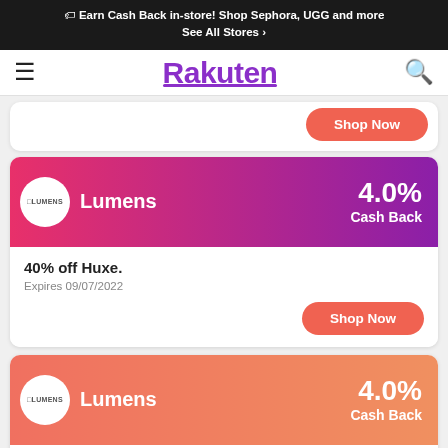🏷 Earn Cash Back in-store! Shop Sephora, UGG and more See All Stores >
[Figure (logo): Rakuten logo with hamburger menu and search icon navigation bar]
Shop Now
[Figure (infographic): Lumens store card with purple-pink gradient header showing 4.0% Cash Back]
40% off Huxe.
Expires 09/07/2022
Shop Now
[Figure (infographic): Lumens store card with orange-salmon gradient header showing 4.0% Cash Back]
20% off Robert Abbey.
Expires 09/07/2022